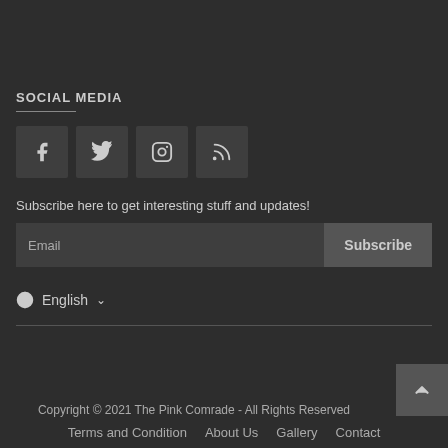SOCIAL MEDIA
[Figure (infographic): Four social media icon buttons: Facebook (f), Twitter (bird), Instagram (camera), RSS feed icons in dark grey square boxes]
Subscribe here to get interesting stuff and updates!
[Figure (infographic): Email subscription form with text input placeholder 'Email' and a 'Subscribe' button]
English ∨
Copyright © 2021 The Pink Comrade - All Rights Reserved
Terms and Condition   About Us   Gallery   Contact